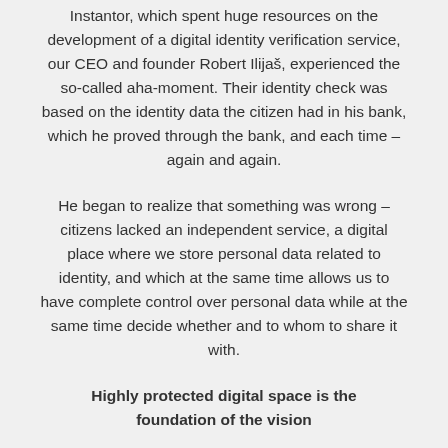Instantor, which spent huge resources on the development of a digital identity verification service, our CEO and founder Robert Ilijaš, experienced the so-called aha-moment. Their identity check was based on the identity data the citizen had in his bank, which he proved through the bank, and each time – again and again.
He began to realize that something was wrong – citizens lacked an independent service, a digital place where we store personal data related to identity, and which at the same time allows us to have complete control over personal data while at the same time decide whether and to whom to share it with.
Highly protected digital space is the foundation of the vision